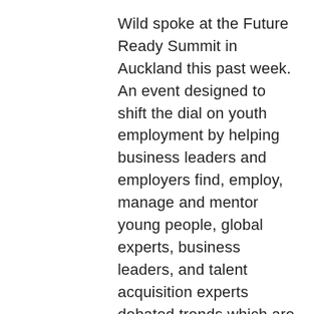Wild spoke at the Future Ready Summit in Auckland this past week. An event designed to shift the dial on youth employment by helping business leaders and employers find, employ, manage and mentor young people, global experts, business leaders, and talent acquisition experts debated trends which are reshaping how we work. Organised by Auckland Tourism, Events and Economic Development (ATEED), Auckland's economic growth agency in partnership with BusinessNZ and the Sustainable Business Council, Wild spoke at the...